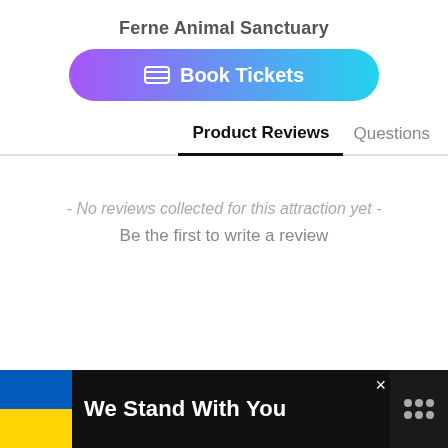Ferne Animal Sanctuary
[Figure (other): Book Tickets button with gradient background (purple to cyan) and ticket icon]
Product Reviews   Questions
- No reviews collected for this attraction yet -
Be the first to write a review
[Figure (logo): Trustpilot-style badge: black circle with star icon and .io text]
[Figure (infographic): Advertisement banner: Ukrainian flag (blue and yellow), text 'We Stand With You', close (x) button, and logo dots on black background]